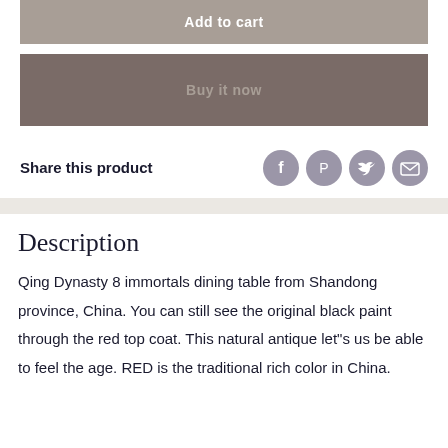Add to cart
Buy it now
Share this product
[Figure (other): Social share icons: Facebook, Pinterest, Twitter, Email]
Description
Qing Dynasty 8 immortals dining table from Shandong province, China. You can still see the original black paint through the red top coat. This natural antique let"s us be able to feel the age. RED is the traditional rich color in China.